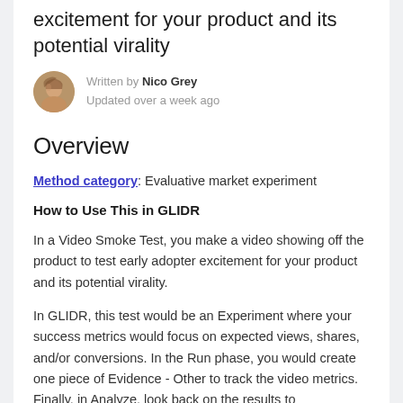excitement for your product and its potential virality
Written by Nico Grey
Updated over a week ago
Overview
Method category: Evaluative market experiment
How to Use This in GLIDR
In a Video Smoke Test, you make a video showing off the product to test early adopter excitement for your product and its potential virality.
In GLIDR, this test would be an Experiment where your success metrics would focus on expected views, shares, and/or conversions. In the Run phase, you would create one piece of Evidence - Other to track the video metrics. Finally, in Analyze, look back on the results to